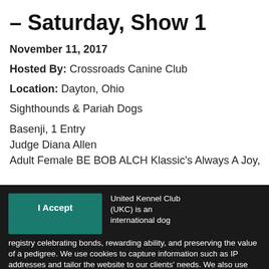- Saturday, Show 1
November 11, 2017
Hosted By: Crossroads Canine Club
Location: Dayton, Ohio
Sighthounds & Pariah Dogs
Basenji, 1 Entry
Judge Diana Allen
Adult Female BE BOB ALCH Klassic's Always A Joy, Ann E
United Kennel Club (UKC) is an international dog registry celebrating bonds, rewarding ability, and preserving the value of a pedigree. We use cookies to capture information such as IP addresses and tailor the website to our clients' needs. We also use this information to target and measure promotional material. Please see our Privacy Policy for more information.